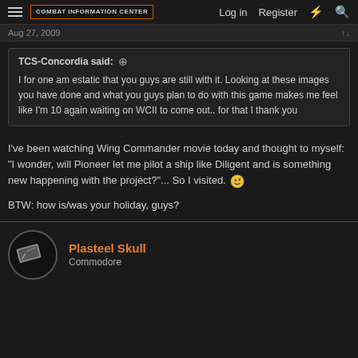Combat Information Center | Log in | Register
Aug 27, 2009
TCS-Concordia said: ↑

I for one am estatic that you guys are still with it. Looking at these images you have done and what you guys plan to do with this game makes me feel like I'm 10 again waiting on WCII to come out.. for that I thank you
I've been watching Wing Commander movie today and thought to myself: "I wonder, will Pioneer let me pilot a ship like Diligent and is something new happening with the project?"... So I visited. 😉
BTW: how is/was your holiday, guys?
Plasteel Skull
Commodore